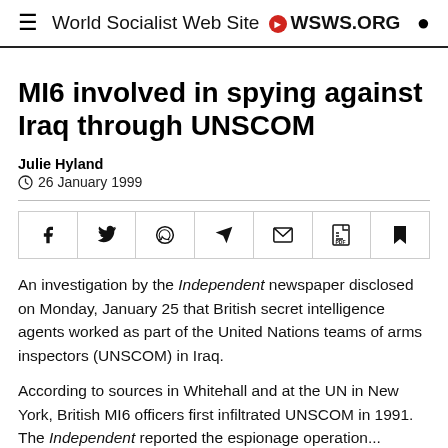World Socialist Web Site • WSWS.ORG
MI6 involved in spying against Iraq through UNSCOM
Julie Hyland
26 January 1999
[Figure (other): Social share buttons: Facebook, Twitter, WhatsApp, Telegram, Email, PDF, Bookmark]
An investigation by the Independent newspaper disclosed on Monday, January 25 that British secret intelligence agents worked as part of the United Nations teams of arms inspectors (UNSCOM) in Iraq.
According to sources in Whitehall and at the UN in New York, British MI6 officers first infiltrated UNSCOM in 1991. The Independent reported the espionage operation...